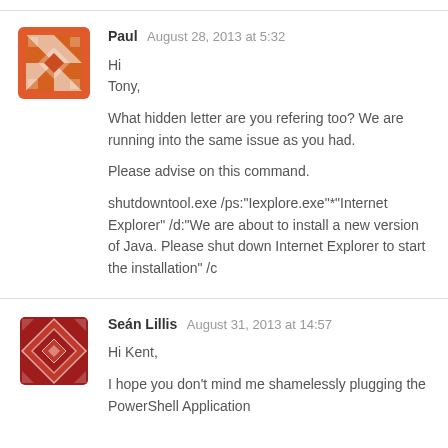Paul  August 28, 2013 at 5:32
Hi
Tony,

What hidden letter are you refering too? We are running into the same issue as you had.

Please advise on this command.

shutdowntool.exe /ps:"Iexplore.exe"*"Internet Explorer" /d:"We are about to install a new version of Java. Please shut down Internet Explorer to start the installation" /c
Seán Lillis  August 31, 2013 at 14:57
Hi Kent,

I hope you don't mind me shamelessly plugging the PowerShell Application